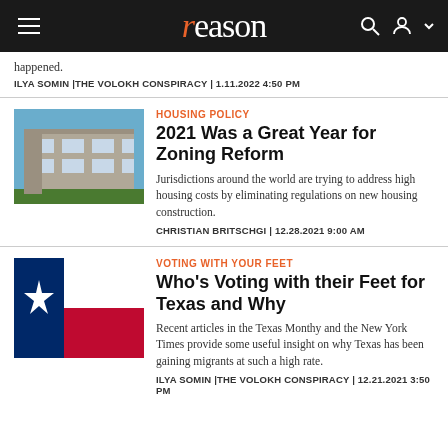reason
happened.
ILYA SOMIN | THE VOLOKH CONSPIRACY | 1.11.2022 4:50 PM
[Figure (photo): Exterior photo of multi-story residential building with blue sky background]
HOUSING POLICY
2021 Was a Great Year for Zoning Reform
Jurisdictions around the world are trying to address high housing costs by eliminating regulations on new housing construction.
CHRISTIAN BRITSCHGI | 12.28.2021 9:00 AM
[Figure (photo): Texas state flag — blue field with white star on left, red and white horizontal stripes on right]
VOTING WITH YOUR FEET
Who's Voting with their Feet for Texas and Why
Recent articles in the Texas Monthy and the New York Times provide some useful insight on why Texas has been gaining migrants at such a high rate.
ILYA SOMIN | THE VOLOKH CONSPIRACY | 12.21.2021 3:50 PM